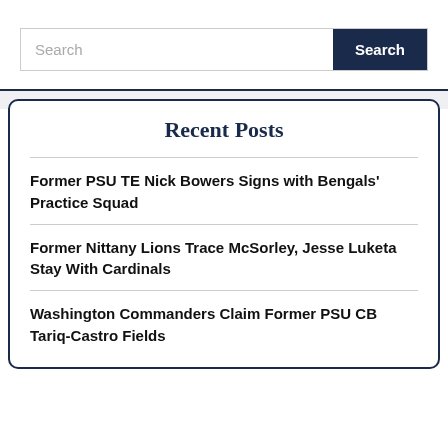Search
Recent Posts
Former PSU TE Nick Bowers Signs with Bengals' Practice Squad
Former Nittany Lions Trace McSorley, Jesse Luketa Stay With Cardinals
Washington Commanders Claim Former PSU CB Tariq-Castro Fields